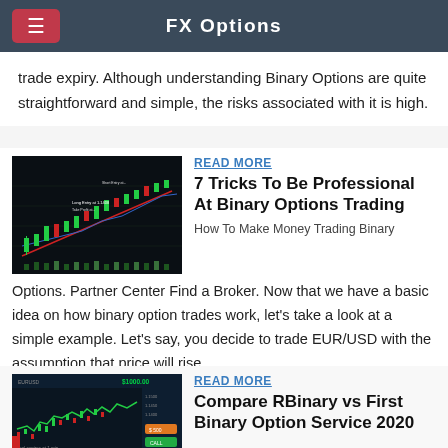FX Options
trade expiry. Although understanding Binary Options are quite straightforward and simple, the risks associated with it is high.
READ MORE
7 Tricks To Be Professional At Binary Options Trading
[Figure (screenshot): Candlestick trading chart for binary options with trend lines and annotations]
How To Make Money Trading Binary Options. Partner Center Find a Broker. Now that we have a basic idea on how binary option trades work, let’s take a look at a simple example. Let’s say, you decide to trade EUR/USD with the assumption that price will rise.
READ MORE
Compare RBinary vs First Binary Option Service 2020
[Figure (screenshot): Binary options trading platform screenshot showing $1000.00 balance and a candlestick/line chart]